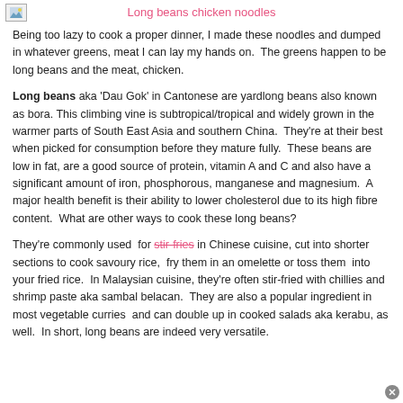[Figure (photo): Small image placeholder icon in top-left corner]
Long beans chicken noodles
Being too lazy to cook a proper dinner, I made these noodles and dumped in whatever greens, meat I can lay my hands on.  The greens happen to be long beans and the meat, chicken.
Long beans aka 'Dau Gok' in Cantonese are yardlong beans also known as bora. This climbing vine is subtropical/tropical and widely grown in the warmer parts of South East Asia and southern China.  They're at their best when picked for consumption before they mature fully.  These beans are low in fat, are a good source of protein, vitamin A and C and also have a significant amount of iron, phosphorous, manganese and magnesium.  A major health benefit is their ability to lower cholesterol due to its high fibre content.  What are other ways to cook these long beans?
They're commonly used  for stir-fries in Chinese cuisine, cut into shorter sections to cook savoury rice,  fry them in an omelette or toss them  into your fried rice.  In Malaysian cuisine, they're often stir-fried with chillies and shrimp paste aka sambal belacan.  They are also a popular ingredient in most vegetable curries  and can double up in cooked salads aka kerabu, as well.  In short, long beans are indeed very versatile.